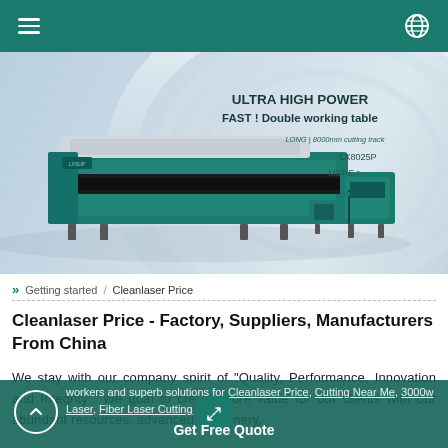Navigation bar with hamburger menu and globe icon
[Figure (photo): Hero banner showing a large industrial fiber laser cutting machine (teal/white color) with text overlays: 'ULTRA HIGH POWER', 'FAST! Double working table', 'LONG | 8000mm cutting track', 'LX8025P', 'MORE >']
» Getting started / Cleanlaser Price
Cleanlaser Price - Factory, Suppliers, Manufacturers From China
We stay with our company spirit of "Quality, Performance, Innovation and Integrity". We goal to create more value for our clients with our abundant resources, advanced machinery, workers and superb solutions for Cleanlaser Price, Cutting Near Me, 3000w Laser, Fiber Laser Cutting
Get Free Quote